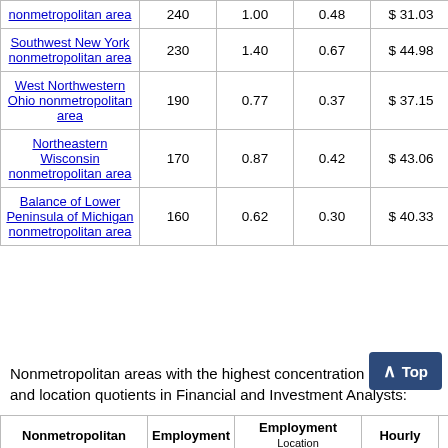| Area Name | Employment |  | Location Quotient | Hourly Mean Wage |  |
| --- | --- | --- | --- | --- | --- |
| nonmetropolitan area | 240 | 1.00 | 0.48 | $ 31.03 | 64 |
| Southwest New York nonmetropolitan area | 230 | 1.40 | 0.67 | $ 44.98 | 93 |
| West Northwestern Ohio nonmetropolitan area | 190 | 0.77 | 0.37 | $ 37.15 | 77 |
| Northeastern Wisconsin nonmetropolitan area | 170 | 0.87 | 0.42 | $ 43.06 | 89 |
| Balance of Lower Peninsula of Michigan nonmetropolitan area | 160 | 0.62 | 0.30 | $ 40.33 | 83 |
Nonmetropolitan areas with the highest concentration of jobs and location quotients in Financial and Investment Analysts:
| Nonmetropolitan Area | Employment | Employment | Location | Hourly |  |
| --- | --- | --- | --- | --- | --- |